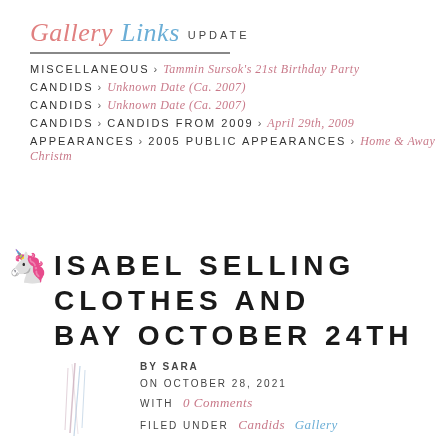Gallery Links UPDATE
MISCELLANEOUS > Tammin Sursok's 21st Birthday Party
CANDIDS > Unknown Date (Ca. 2007)
CANDIDS > Unknown Date (Ca. 2007)
CANDIDS > CANDIDS FROM 2009 > April 29th, 2009
APPEARANCES > 2005 PUBLIC APPEARANCES > Home & Away Christm
ISABEL SELLING CLOTHES AND BAY OCTOBER 24TH
BY SARA
ON OCTOBER 28, 2021
WITH 0 Comments
FILED UNDER Candids Gallery